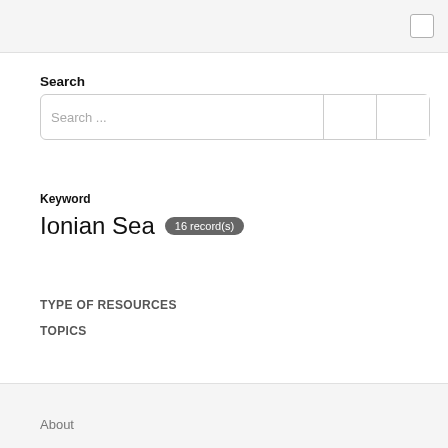Search
Search ...
Keyword
Ionian Sea  16 record(s)
TYPE OF RESOURCES
TOPICS
About